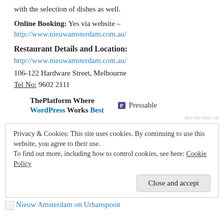with the selection of dishes as well.
Online Booking: Yes via website – http://www.nieuwamsterdam.com.au/
Restaurant Details and Location:
http://www.nieuwamsterdam.com.au/
106-122 Hardware Street, Melbourne
Tel No: 9602 2111
[Figure (other): Advertisement banner: ThePlatform Where WordPress Works Best | Pressable logo]
REPORT THIS AD
Privacy & Cookies: This site uses cookies. By continuing to use this website, you agree to their use. To find out more, including how to control cookies, see here: Cookie Policy  [Close and accept button]
Nieuw Amsterdam on Urbanspoon